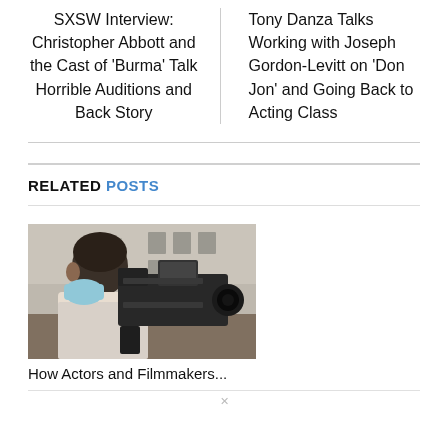SXSW Interview: Christopher Abbott and the Cast of ‘Burma’ Talk Horrible Auditions and Back Story
Tony Danza Talks Working with Joseph Gordon-Levitt on ‘Don Jon’ and Going Back to Acting Class
RELATED POSTS
[Figure (photo): A person wearing a face mask and operating a professional video camera outdoors with a stone building in the background]
How Actors and Filmmakers...